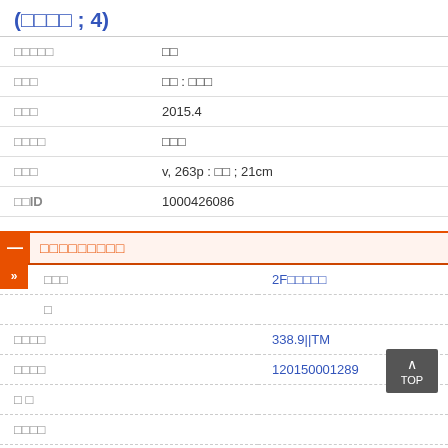(□□□□ ; 4)
| □□□□□ | □□□□ | □□□ | □□□ | □□□□ | □□□ | □□ID |
| --- | --- | --- | --- | --- | --- | --- |
| □□□□□ | □□ |
| □□□ | □□ : □□□ |
| □□□ | 2015.4 |
| □□□□ | □□□ |
| □□□ | v, 263p : □□ ; 21cm |
| □□ID | 1000426086 |
□□□□□□□□□
| □□□ | □ | □□□□ | □□□□ | □ □ | □□□□ | □□□□ |
| --- | --- | --- | --- | --- | --- | --- |
| □□□ | 2F□□□□□ |
| □ |  |
| □□□□ | 338.9||TM |
| □□□□ | 120150001289 |
| □ □ |  |
| □□□□ |  |
| □□□□ |  |